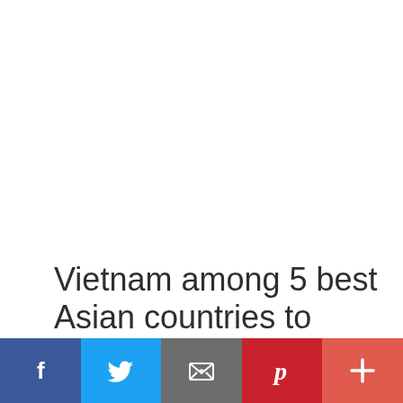Vietnam among 5 best Asian countries to celebrate Mid-Autumn Festival
[Figure (infographic): Social sharing bar with Facebook, Twitter, Email, Pinterest, and More buttons]